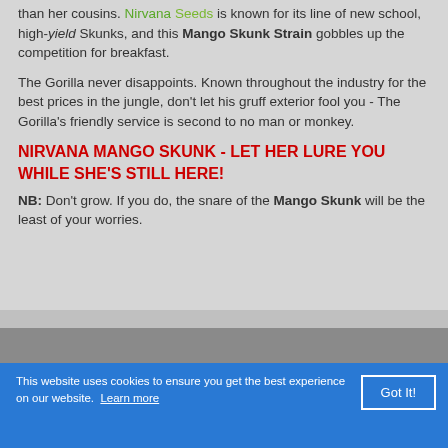than her cousins. Nirvana Seeds is known for its line of new school, high-yield Skunks, and this Mango Skunk Strain gobbles up the competition for breakfast.
The Gorilla never disappoints. Known throughout the industry for the best prices in the jungle, don't let his gruff exterior fool you - The Gorilla's friendly service is second to no man or monkey.
NIRVANA MANGO SKUNK - LET HER LURE YOU WHILE SHE'S STILL HERE!
NB: Don't grow. If you do, the snare of the Mango Skunk will be the least of your worries.
[Figure (photo): Partial image strip visible at bottom of content area, dark gray tone]
This website uses cookies to ensure you get the best experience on our website. Learn more